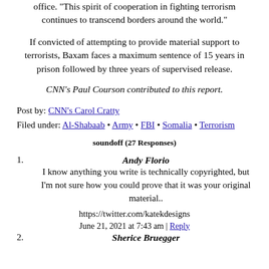office. "This spirit of cooperation in fighting terrorism continues to transcend borders around the world."
If convicted of attempting to provide material support to terrorists, Baxam faces a maximum sentence of 15 years in prison followed by three years of supervised release.
CNN's Paul Courson contributed to this report.
Post by: CNN's Carol Cratty
Filed under: Al-Shabaab • Army • FBI • Somalia • Terrorism
soundoff (27 Responses)
1. Andy Florio
I know anything you write is technically copyrighted, but I'm not sure how you could prove that it was your original material..
https://twitter.com/katekdesigns
June 21, 2021 at 7:43 am | Reply
2. Sherice Bruegger